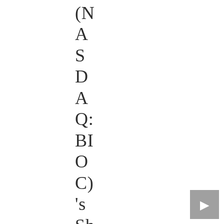(NASDAQ: BIOC)'s Share – Report O
[Figure (other): Navigation button with forward arrow icon, gray background]